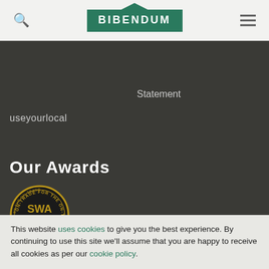[Figure (logo): Bibendum wine company logo — green arch-topped rectangle with white text BIBENDUM]
Statement
useyourlocal
Our Awards
[Figure (illustration): SWA Sommelier Wine Awards circular badge — gold and black, text reads: SWA SOMMELIER WINE AWARDS, ON-TRADE FOR THE ON-TRADE, BY THE ON-TRADE, 2020]
This website uses cookies to give you the best experience. By continuing to use this site we'll assume that you are happy to receive all cookies as per our cookie policy.
Continue